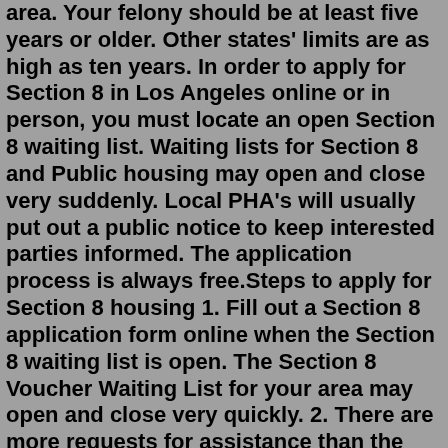area. Your felony should be at least five years or older. Other states' limits are as high as ten years. In order to apply for Section 8 in Los Angeles online or in person, you must locate an open Section 8 waiting list. Waiting lists for Section 8 and Public housing may open and close very suddenly. Local PHA's will usually put out a public notice to keep interested parties informed. The application process is always free.Steps to apply for Section 8 housing 1. Fill out a Section 8 application form online when the Section 8 waiting list is open. The Section 8 Voucher Waiting List for your area may open and close very quickly. 2. There are more requests for assistance than the number of vouchers available.1. Find your local PHA in San Diego, California. 2. Find an open Section 8 waiting list for Section 8 in your area. 3. Determine whether or not you qualify for Section 8 housing. Families or individuals that want to apply for Section 8 online or otherwise, will be required to complete a Section 8 application for housing assistance.Aug 04, 2019 · The Housing Authority of the County of Butte